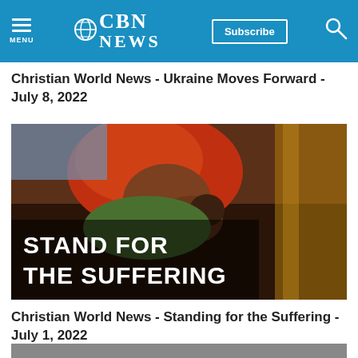CBN NEWS
Christian World News - Ukraine Moves Forward - July 8, 2022
[Figure (photo): A woman in a red headscarf leaning over and kissing a baby, with text overlay reading STAND FOR THE SUFFERING]
Christian World News - Standing for the Suffering - July 1, 2022
[Figure (photo): Partial view of another news thumbnail at the bottom of the page]